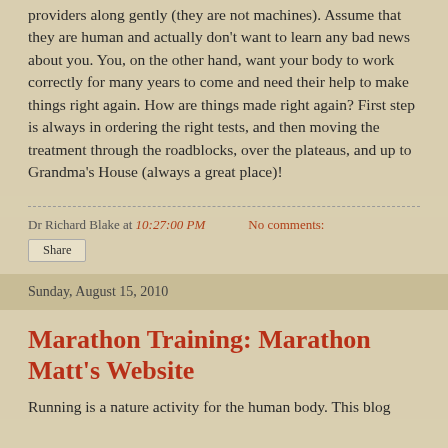providers along gently (they are not machines). Assume that they are human and actually don't want to learn any bad news about you. You, on the other hand, want your body to work correctly for many years to come and need their help to make things right again. How are things made right again? First step is always in ordering the right tests, and then moving the treatment through the roadblocks, over the plateaus, and up to Grandma's House (always a great place)!
Dr Richard Blake at 10:27:00 PM   No comments:
Share
Sunday, August 15, 2010
Marathon Training: Marathon Matt's Website
Running is a nature activity for the human body. This blog